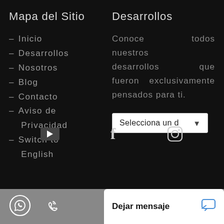Mapa del Sitio
- Inicio
- Desarrollos
- Nosotros
- Blog
- Contacto
- Aviso de Privacidad
- Switch to English
Desarrollos
Conoce todos nuestros desarrollos que fueron exclusivamente pensados para ti.
Selecciona un d ▼
[Figure (other): Social media icons: YouTube, Facebook, Instagram]
Dejar mensaje